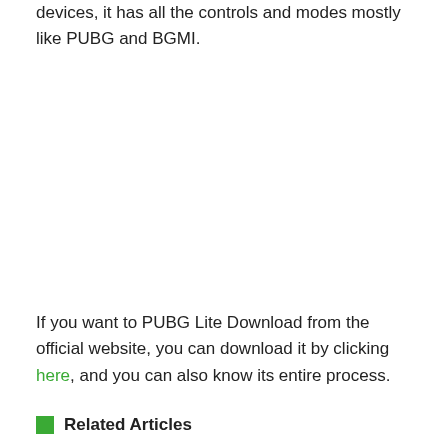devices, it has all the controls and modes mostly like PUBG and BGMI.
If you want to PUBG Lite Download from the official website, you can download it by clicking here, and you can also know its entire process.
Related Articles